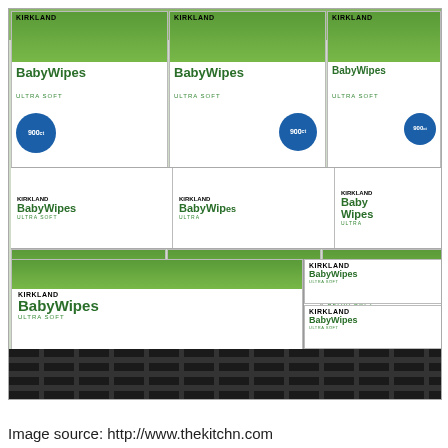[Figure (photo): Photograph of many stacked boxes of Kirkland Signature Baby Wipes Ultra Soft (900 count) on a store shelf. One box is upside down in the foreground. The boxes feature a green top panel, white body, and images of babies.]
Image source: http://www.thekitchn.com